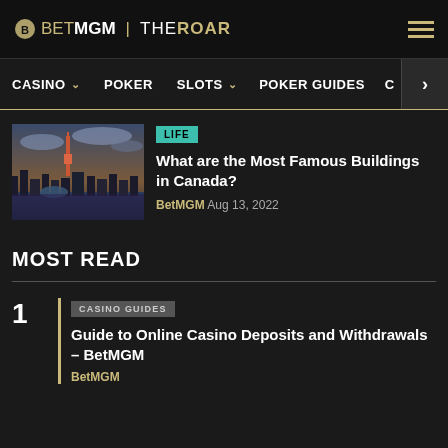BetMGM | THE ROAR
CASINO  POKER  SLOTS  POKER GUIDES  C  >
LIFE
What are the Most Famous Buildings in Canada?
BetMGM  Aug 13, 2022
MOST READ
CASINO GUIDES
Guide to Online Casino Deposits and Withdrawals – BetMGM
BetMGM  Aug 31, 2022